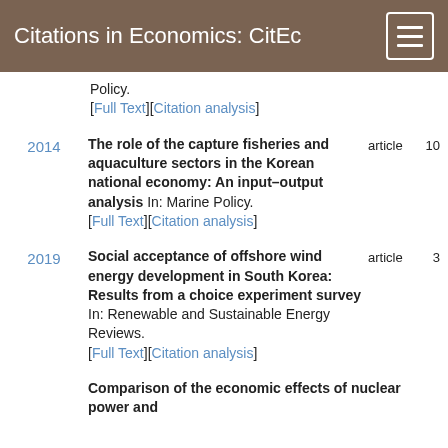Citations in Economics: CitEc
Policy.
[Full Text][Citation analysis]
2014 | The role of the capture fisheries and aquaculture sectors in the Korean national economy: An input–output analysis In: Marine Policy. [Full Text][Citation analysis] | article | 10
2019 | Social acceptance of offshore wind energy development in South Korea: Results from a choice experiment survey In: Renewable and Sustainable Energy Reviews. [Full Text][Citation analysis] | article | 3
Comparison of the economic effects of nuclear power and